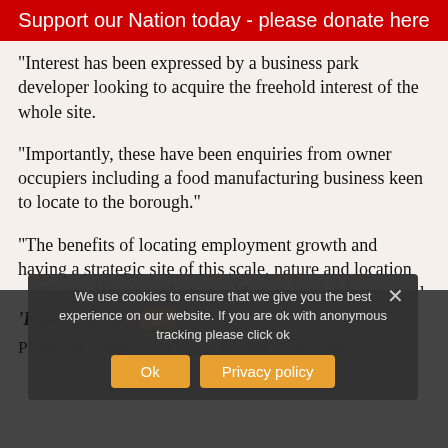Support our Nation today - please donate here
“Interest has been expressed by a business park developer looking to acquire the freehold interest of the whole site.
“Importantly, these have been enquiries from owner occupiers including a food manufacturing business keen to locate to the borough.”
“The benefits of locating employment growth and having a strategic site of this scale, nature and location within the Wrexham Industrial Estate are not just logical but obvious.”
We use cookies to ensure that we give you the best experience on our website. If you are ok with anonymous tracking please click ok
‘Previously rejected’
Proposals to develop a larger section of land unde…